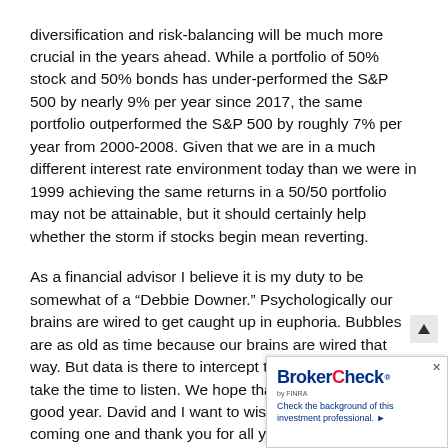diversification and risk-balancing will be much more crucial in the years ahead. While a portfolio of 50% stock and 50% bonds has under-performed the S&P 500 by nearly 9% per year since 2017, the same portfolio outperformed the S&P 500 by roughly 7% per year from 2000-2008. Given that we are in a much different interest rate environment today than we were in 1999 achieving the same returns in a 50/50 portfolio may not be attainable, but it should certainly help whether the storm if stocks begin mean reverting.
As a financial advisor I believe it is my duty to be somewhat of a “Debbie Downer.” Psychologically our brains are wired to get caught up in euphoria. Bubbles are as old as time because our brains are wired that way. But data is there to intercept that thinking if we just take the time to listen. We hope that you all have had a good year. David and I want to wish you the best for the coming one and thank you for all your support.
Thanks for reading,
[Figure (other): BrokerCheck by FINRA advertisement widget in bottom-right corner with logo and tagline 'Check the background of this investment professional.']